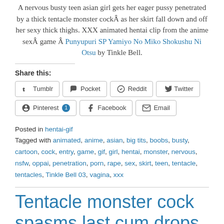A nervous busty teen asian girl gets her eager pussy penetrated by a thick tentacle monster cockÂ as her skirt fall down and off her sexy thick thighs. XXX animated hentai clip from the anime sexÂ game Â Punyupuri SP Yamiyo No Miko Shokushu Ni Otsu by Tinkle Bell.
Share this:
Tumblr  Pocket  Reddit  Twitter  Pinterest 1  Facebook  Email
Posted in hentai-gif
Tagged with animated, anime, asian, big tits, boobs, busty, cartoon, cock, entry, game, gif, girl, hentai, monster, nervous, nsfw, oppai, penetration, porn, rape, sex, skirt, teen, tentacle, tentacles, Tinkle Bell 03, vagina, xxx
Tentacle monster cock spasms last cum drops